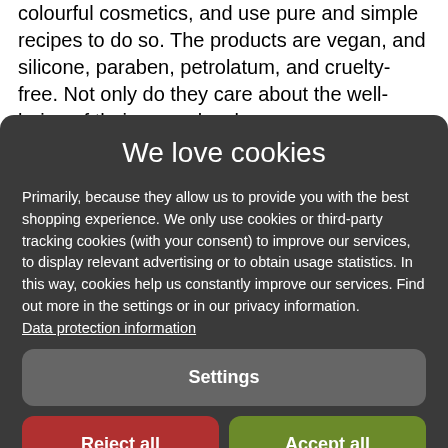colourful cosmetics, and use pure and simple recipes to do so. The products are vegan, and silicone, paraben, petrolatum, and cruelty-free. Not only do they care about the well-being of their many, loyal
We love cookies
Primarily, because they allow us to provide you with the best shopping experience. We only use cookies or third-party tracking cookies (with your consent) to improve our services, to display relevant advertising or to obtain usage statistics. In this way, cookies help us constantly improve our services. Find out more in the settings or in our privacy information. Data protection information
Settings
Reject all
Accept all